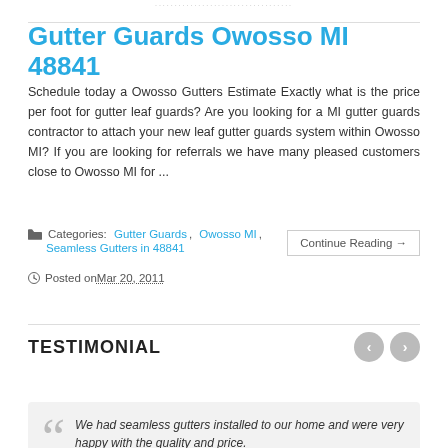Gutter Guards Owosso MI 48841
Schedule today a Owosso Gutters Estimate Exactly what is the price per foot for gutter leaf guards? Are you looking for a MI gutter guards contractor to attach your new leaf gutter guards system within Owosso MI? If you are looking for referrals we have many pleased customers close to Owosso MI for ...
Categories: Gutter Guards, Owosso MI, Seamless Gutters in 48841
Posted on Mar 20, 2011
TESTIMONIAL
We had seamless gutters installed to our home and were very happy with the quality and price.